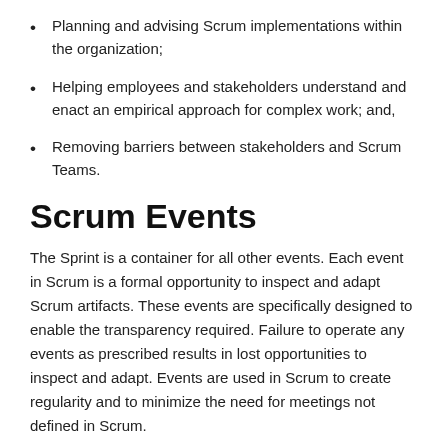Planning and advising Scrum implementations within the organization;
Helping employees and stakeholders understand and enact an empirical approach for complex work; and,
Removing barriers between stakeholders and Scrum Teams.
Scrum Events
The Sprint is a container for all other events. Each event in Scrum is a formal opportunity to inspect and adapt Scrum artifacts. These events are specifically designed to enable the transparency required. Failure to operate any events as prescribed results in lost opportunities to inspect and adapt. Events are used in Scrum to create regularity and to minimize the need for meetings not defined in Scrum.
Optimally, all events are held at the same time and place to reduce complexity.